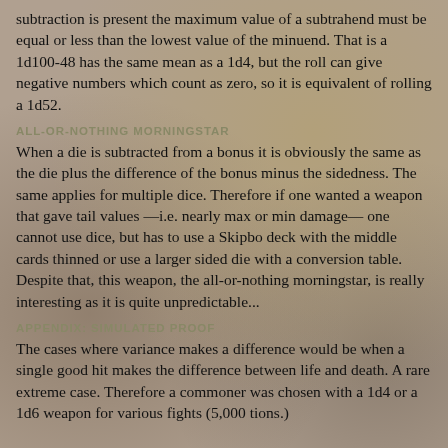subtraction is present the maximum value of a subtrahend must be equal or less than the lowest value of the minuend. That is a 1d100-48 has the same mean as a 1d4, but the roll can give negative numbers which count as zero, so it is equivalent of rolling a 1d52.
ALL-OR-NOTHING MORNINGSTAR
When a die is subtracted from a bonus it is obviously the same as the die plus the difference of the bonus minus the sidedness. The same applies for multiple dice. Therefore if one wanted a weapon that gave tail values —i.e. nearly max or min damage— one cannot use dice, but has to use a Skipbo deck with the middle cards thinned or use a larger sided die with a conversion table. Despite that, this weapon, the all-or-nothing morningstar, is really interesting as it is quite unpredictable...
APPENDIX: SIMULATED PROOF
The cases where variance makes a difference would be when a single good hit makes the difference between life and death. A rare extreme case. Therefore a commoner was chosen with a 1d4 or a 1d6 weapon for various fights (5,000 tions.)